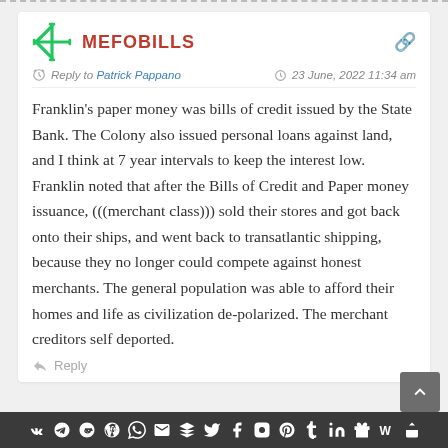MEFOBILLS
Reply to Patrick Pappano — 23 June, 2022 11:34 am
Franklin's paper money was bills of credit issued by the State Bank. The Colony also issued personal loans against land, and I think at 7 year intervals to keep the interest low. Franklin noted that after the Bills of Credit and Paper money issuance, (((merchant class))) sold their stores and got back onto their ships, and went back to transatlantic shipping, because they no longer could compete against honest merchants. The general population was able to afford their homes and life as civilization de-polarized. The merchant creditors self deported.
Reply